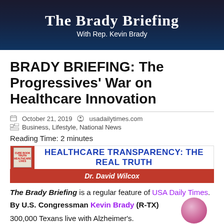[Figure (photo): Dark blue/black banner image with 'The Brady Briefing' title text and 'With Rep. Kevin Brady' subtitle in white on a night sky background]
BRADY BRIEFING: The Progressives' War on Healthcare Innovation
October 21, 2019   usadailytimes.com
Business, Lifestyle, National News
Reading Time: 2 minutes
[Figure (infographic): Banner ad for 'HEALTHCARE TRANSPARENCY: THE REAL TRUTH' by Dr. David Wilcox, with blue headline text on white and author name on red background]
The Brady Briefing is a regular feature of USA Daily Times.
By U.S. Congressman Kevin Brady (R-TX)
300,000 Texans live with Alzheimer's.